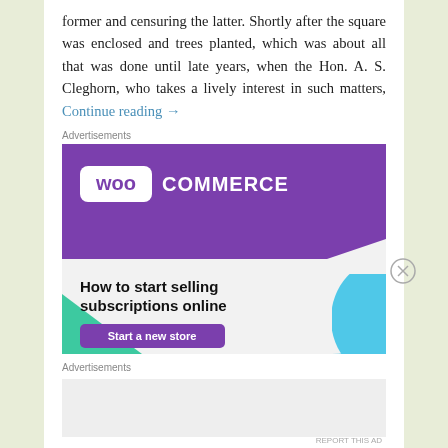former and censuring the latter. Shortly after the square was enclosed and trees planted, which was about all that was done until late years, when the Hon. A. S. Cleghorn, who takes a lively interest in such matters, Continue reading →
Advertisements
[Figure (illustration): WooCommerce advertisement banner with purple header showing WooCommerce logo, green triangle shape, teal/blue curved shape, headline 'How to start selling subscriptions online', and purple 'Start a new store' button]
Advertisements